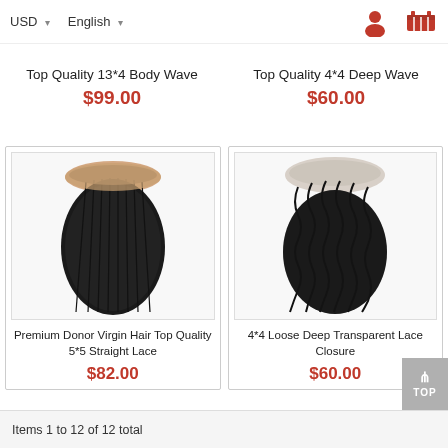USD  English
Top Quality 13*4 Body Wave
$99.00
Top Quality 4*4 Deep Wave
$60.00
[Figure (photo): Hair closure product - straight lace closure]
Premium Donor Virgin Hair Top Quality 5*5 Straight Lace
$82.00
[Figure (photo): Hair closure product - loose deep transparent lace closure]
4*4 Loose Deep Transparent Lace Closure
$60.00
Items 1 to 12 of 12 total